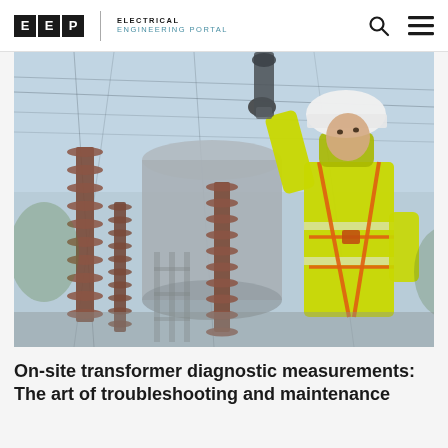EEP ELECTRICAL ENGINEERING PORTAL
[Figure (photo): Electrical worker in yellow high-visibility jacket and white hard hat working on high-voltage transformer insulators at an outdoor electrical substation. The worker is reaching upward toward equipment while wearing an orange safety harness. Brown ceramic insulators are visible in the foreground.]
On-site transformer diagnostic measurements: The art of troubleshooting and maintenance